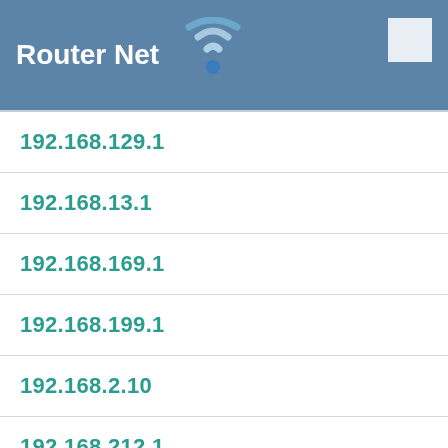Router Net
| 192.168.129.1 |
| 192.168.13.1 |
| 192.168.169.1 |
| 192.168.199.1 |
| 192.168.2.10 |
| 192.168.212.1 |
| 192.168.2.2 |
| 192.168.2.254 |
| 192.168.24.250 |
| 192.168.245.1 |
| 192.168.253.254 |